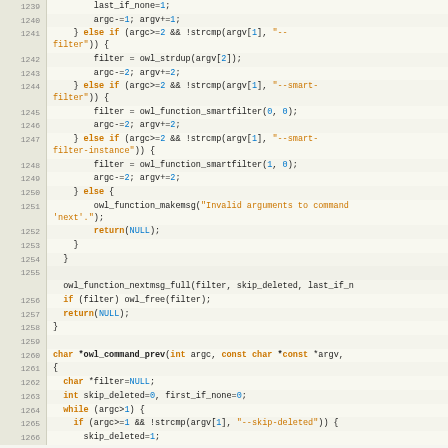[Figure (screenshot): Source code viewer showing C code lines 1239-1266, with line numbers on the left and syntax-highlighted code on the right. Keywords in bold orange, string literals in orange, numeric literals in blue.]